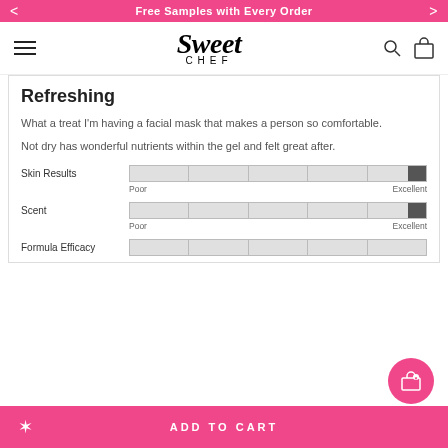Free Samples with Every Order
[Figure (logo): Sweet Chef brand logo with stylized script 'Sweet' and small caps 'CHEF' below]
Refreshing
What a treat I'm having a facial mask that makes a person so comfortable.
Not dry has wonderful nutrients within the gel and felt great after.
Skin Results — rating bar from Poor to Excellent (near Excellent)
Scent — rating bar from Poor to Excellent (near Excellent)
Formula Efficacy — rating bar (partially visible)
ADD TO CART